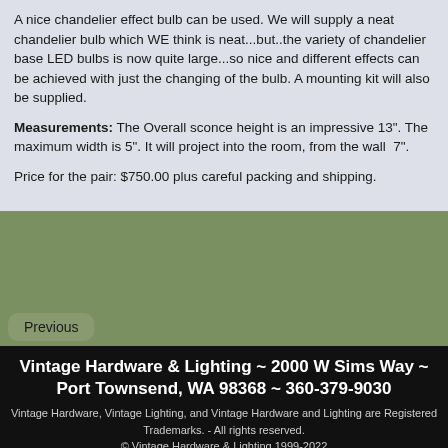A nice chandelier effect bulb can be used. We will supply a neat chandelier bulb which WE think is neat...but..the variety of chandelier base LED bulbs is now quite large...so nice and different effects can be achieved with just the changing of the bulb. A mounting kit will also be supplied.
Measurements: The Overall sconce height is an impressive 13". The maximum width is 5". It will project into the room, from the wall  7".
Price for the pair: $750.00 plus careful packing and shipping.
Previous
Vintage Hardware & Lighting ~ 2000 W Sims Way ~ Port Townsend, WA 98368 ~ 360-379-9030
Vintage Hardware, Vintage Lighting, and Vintage Hardware and Lighting are Registered Trademarks. - All rights reserved.
© Vintage Hardware & Lighting 1999-2022
We reserve the right to change or modify policies, prices, sizes, and/or designs at anytime, without prior notification.